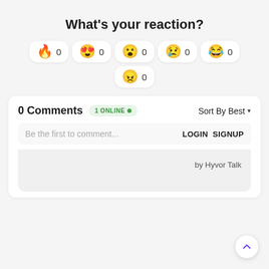What's your reaction?
[Figure (infographic): Six reaction emoji buttons each showing a count of 0: fire, heart-eyes, surprised, sad/teary, laughing, angry]
0 Comments  1 ONLINE •  Sort By Best ▾
Be the first to comment...  LOGIN  SIGNUP
by Hyvor Talk